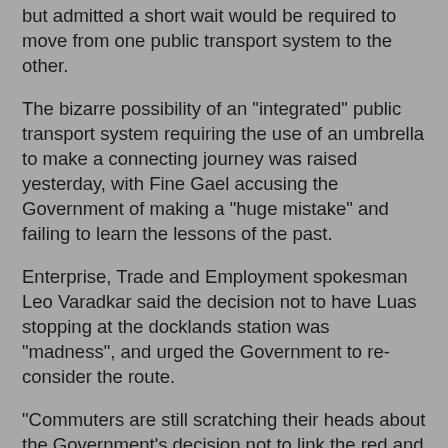but admitted a short wait would be required to move from one public transport system to the other.
The bizarre possibility of an "integrated" public transport system requiring the use of an umbrella to make a connecting journey was raised yesterday, with Fine Gael accusing the Government of making a "huge mistake" and failing to learn the lessons of the past.
Enterprise, Trade and Employment spokesman Leo Varadkar said the decision not to have Luas stopping at the docklands station was "madness", and urged the Government to re-consider the route.
"Commuters are still scratching their heads about the Government's decision not to link the red and green Luas lines, this mistake is now being rectified at the cost of millions of euros," he said.
"Fianna Fail is about to make the same mistake in the docklands. The new Luas docklands extension will not link up with the existing Iarnrod Eireann docklands train station. Once again, Fianna Fail is showing that it cannot learn from